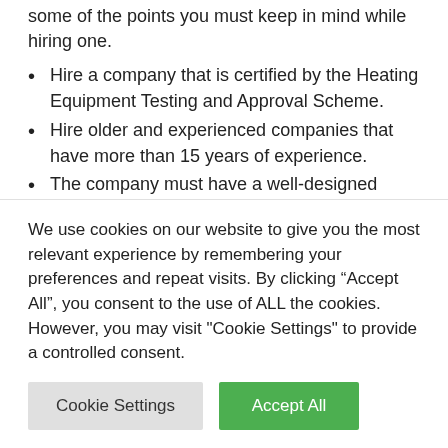some of the points you must keep in mind while hiring one.
Hire a company that is certified by the Heating Equipment Testing and Approval Scheme.
Hire older and experienced companies that have more than 15 years of experience.
The company must have a well-designed website.
The company must offer other services apart from chimney sweeping.
Hire companies with positive feedback.
The company must perform thorough inspections.
We use cookies on our website to give you the most relevant experience by remembering your preferences and repeat visits. By clicking “Accept All”, you consent to the use of ALL the cookies. However, you may visit "Cookie Settings" to provide a controlled consent.